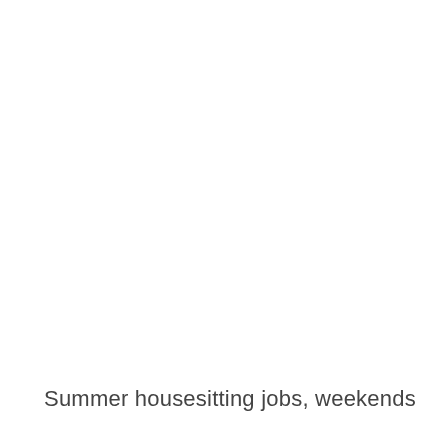Summer housesitting jobs, weekends